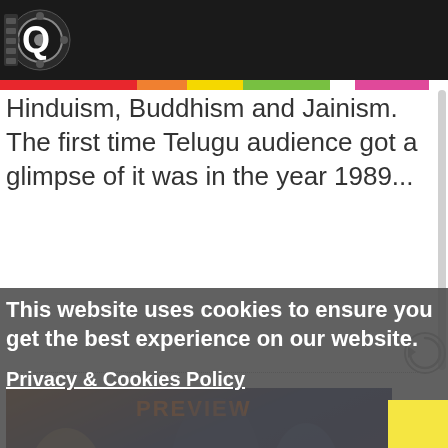[Figure (logo): iQlik Movies logo on black header bar]
Hinduism, Buddhism and Jainism. The first time Telugu audience got a glimpse of it was in the year 1989...
[Figure (photo): SV Krishna Reddy's Yamaleela 2 Preview movie poster with actors]
SV Krishna Reddy's Yamaleela 2 Preview
By iQlik Movies - 27 November 20...
Director SV Krishna Reddy, sensation two decades back with Yamaleela movie starring comedian Ali as the hero. Yamaleela
This website uses cookies to ensure you get the best experience on our website.
Privacy & Cookies Policy
Accept